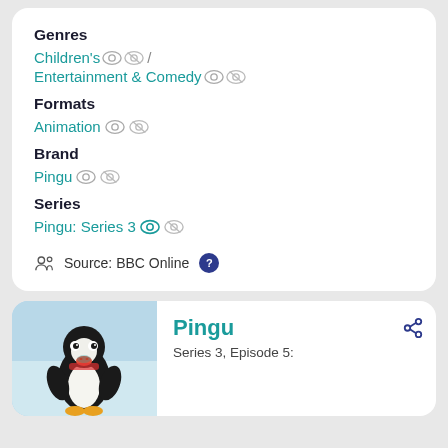Genres
Children's / Entertainment & Comedy
Formats
Animation
Brand
Pingu
Series
Pingu: Series 3
Source: BBC Online
Pingu
Series 3, Episode 5: